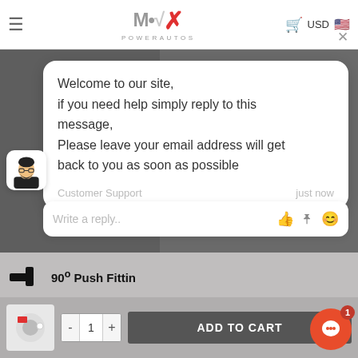[Figure (screenshot): Max Power Autos website header with logo, hamburger menu, cart icon, USD label, and US flag]
[Figure (screenshot): Chat widget showing welcome message bubble from Customer Support with avatar icon, reply input bar, and product/cart interface behind it]
Welcome to our site, if you need help simply reply to this message, Please leave your email address will get back to you as soon as possible
Customer Support
just now
Write a reply..
90º Push Fitting
ADD TO CART